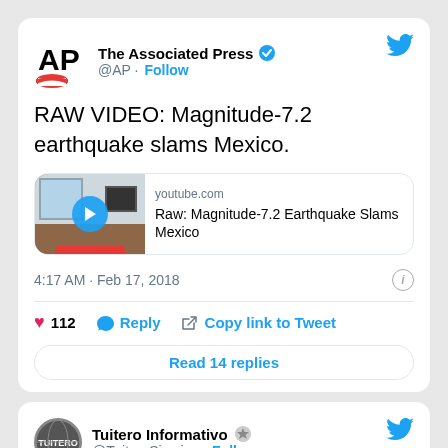[Figure (screenshot): Tweet from The Associated Press (@AP) with verified badge. Text: RAW VIDEO: Magnitude-7.2 earthquake slams Mexico. Contains YouTube link card for 'Raw: Magnitude-7.2 Earthquake Slams Mexico'. Time: 4:17 AM · Feb 17, 2018. 112 likes, Reply, Copy link to Tweet actions. Read 14 replies button.]
[Figure (screenshot): Tweet from Tuitero Informativo (@TuiteroSismico) with Follow link. Text begins: La alerta sísmica de México se activó 72]